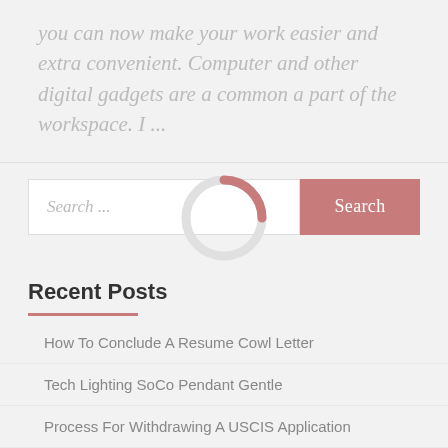you can now make your work easier and extra convenient. Computer and other digital gadgets are a common a part of the workspace. I ...
[Figure (infographic): A donut/spinner loading indicator with a pink arc on a light gray circle, overlaid on the search bar area]
Recent Posts
How To Conclude A Resume Cowl Letter
Tech Lighting SoCo Pendant Gentle
Process For Withdrawing A USCIS Application
10 Amazing Tech Devices You Need For Your Dwelling